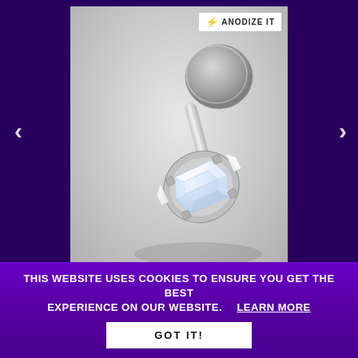[Figure (photo): Close-up photo of a crystal/diamond-set labret piercing jewelry piece with silver prong setting and flat disc back, displayed on a light grey surface. The jewelry features a square emerald-cut clear crystal held by multiple prongs.]
ANODIZE IT
< (left navigation arrow)
> (right navigation arrow)
THIS WEBSITE USES COOKIES TO ENSURE YOU GET THE BEST EXPERIENCE ON OUR WEBSITE.    LEARN MORE
GOT IT!